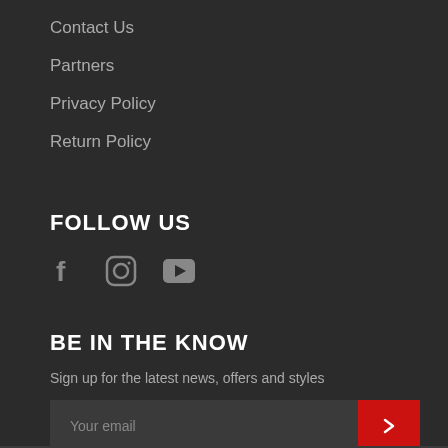Contact Us
Partners
Privacy Policy
Return Policy
FOLLOW US
[Figure (illustration): Social media icons: Facebook (f), Instagram (circle with camera), YouTube (play button triangle)]
BE IN THE KNOW
Sign up for the latest news, offers and styles
Your email